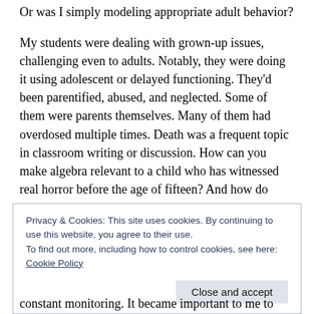Or was I simply modeling appropriate adult behavior?
My students were dealing with grown-up issues, challenging even to adults. Notably, they were doing it using adolescent or delayed functioning. They'd been parentified, abused, and neglected. Some of them were parents themselves. Many of them had overdosed multiple times. Death was a frequent topic in classroom writing or discussion. How can you make algebra relevant to a child who has witnessed real horror before the age of fifteen? And how do
Privacy & Cookies: This site uses cookies. By continuing to use this website, you agree to their use.
To find out more, including how to control cookies, see here: Cookie Policy
constant monitoring. It became important to me to